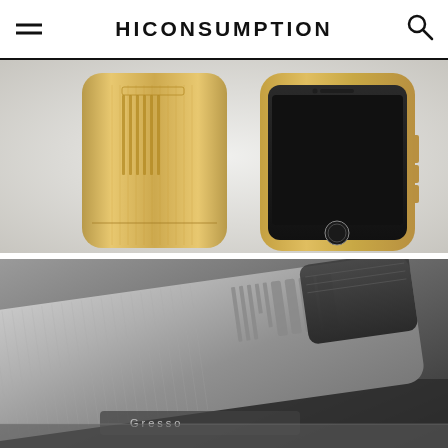HICONSUMPTION
[Figure (photo): Two smartphone cases shown side by side: left shows the back of a gold brushed aluminum iPhone case with vertical line engravings, right shows the front of an iPhone in a gold case with black screen and home button visible.]
[Figure (photo): Close-up detail shot of a silver/space gray brushed aluminum smartphone case showing the engraved pattern detail on the back and side buttons, with the Gresso branding visible.]